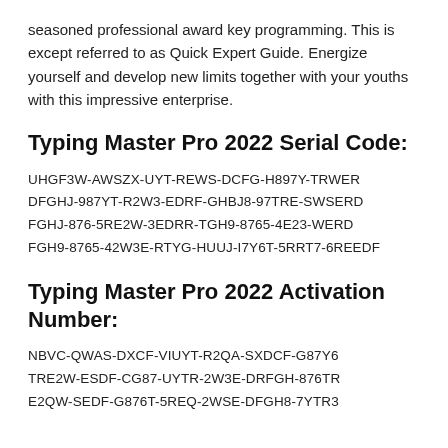seasoned professional award key programming. This is except referred to as Quick Expert Guide. Energize yourself and develop new limits together with your youths with this impressive enterprise.
Typing Master Pro 2022 Serial Code:
UHGF3W-AWSZX-UYT-REWS-DCFG-H897Y-TRWER
DFGHJ-987YT-R2W3-EDRF-GHBJ8-97TRE-SWSERD
FGHJ-876-5RE2W-3EDRR-TGH9-8765-4E23-WERD
FGH9-8765-42W3E-RTYG-HUUJ-I7Y6T-5RRT7-6REEDF
Typing Master Pro 2022 Activation Number:
NBVC-QWAS-DXCF-VIUYT-R2QA-SXDCF-G87Y6
TRE2W-ESDF-CG87-UYTR-2W3E-DRFGH-876TR
E2QW-SEDF-G876T-5REQ-2WSE-DFGH8-7YTR3